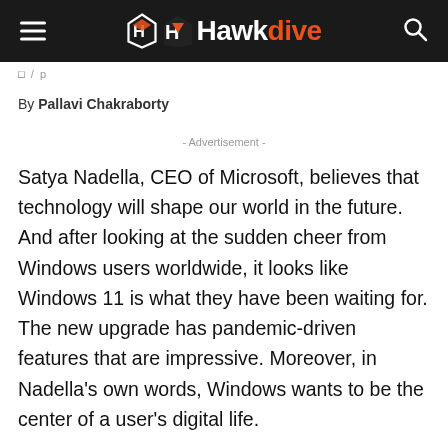Hawkdive
By Pallavi Chakraborty
- Advertisement -
Satya Nadella, CEO of Microsoft, believes that technology will shape our world in the future. And after looking at the sudden cheer from Windows users worldwide, it looks like Windows 11 is what they have been waiting for. The new upgrade has pandemic-driven features that are impressive. Moreover, in Nadella's own words, Windows wants to be the center of a user's digital life.
Furthermore, the new upgrade is a fresh start for loyal Windows users and gives major competition to mac. However, we have a lot more to explore, from a trendy